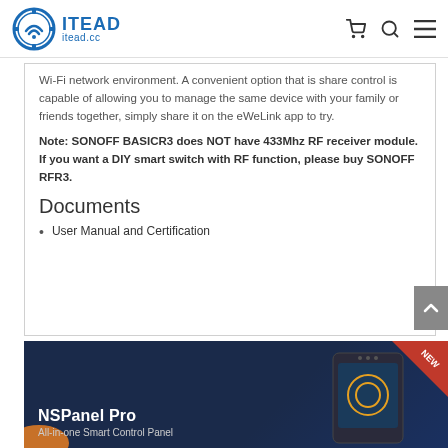ITEAD itead.cc
Wi-Fi network environment. A convenient option that is share control is capable of allowing you to manage the same device with your family or friends together, simply share it on the eWeLink app to try.
Note: SONOFF BASICR3 does NOT have 433Mhz RF receiver module. If you want a DIY smart switch with RF function, please buy SONOFF RFR3.
Documents
User Manual and Certification
[Figure (illustration): NSPanel Pro - All-in-one Smart Control Panel promotional banner with dark blue background, device image, and NEW badge in top right corner]